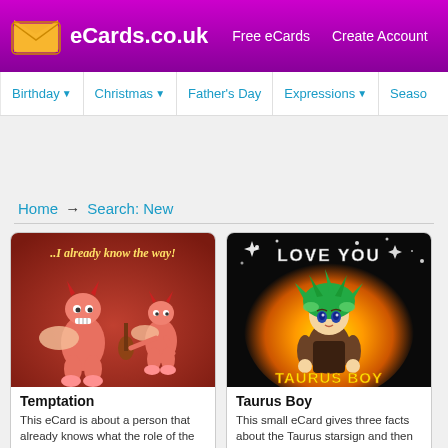eCards.co.uk  Free eCards  Create Account
Birthday  Christmas  Father's Day  Expressions  Season
Home → Search: New
[Figure (screenshot): eCard thumbnail showing two red devil/imp cartoon characters, text '..I already know the way!']
Temptation
This eCard is about a person that already knows what the role of the devil/imp…
votes
[Figure (screenshot): eCard thumbnail showing anime-style character with green hair on orange/yellow background, text 'LOVE YOU TAURUS BOY']
Taurus Boy
This small eCard gives three facts about the Taurus starsign and then covers…
votes